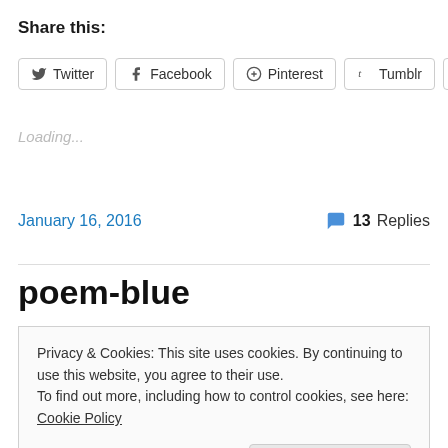Share this:
Twitter | Facebook | Pinterest | Tumblr | More
Loading...
January 16, 2016
13 Replies
poem-blue
Privacy & Cookies: This site uses cookies. By continuing to use this website, you agree to their use.
To find out more, including how to control cookies, see here: Cookie Policy
Close and accept